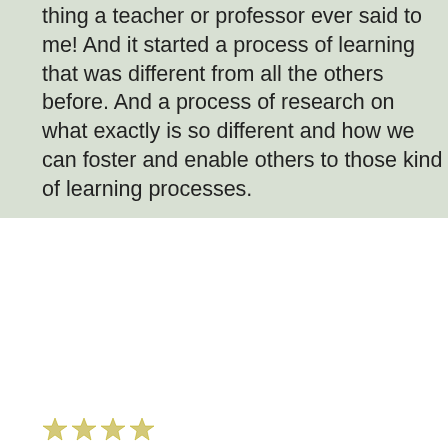thing a teacher or professor ever said to me! And it started a process of learning that was different from all the others before. And a process of research on what exactly is so different and how we can foster and enable others to those kind of learning processes.
Rating: 0.0/4 (0 votes cast)
[Figure (infographic): Social sharing icons row: share/email/bookmark icons including what appear to be icons for a blog platform, Facebook, Google, favorites, email, PDF, and Twitter]
By admin, on September 14th, 2016 Leave a comment
[Figure (other): Small thumbnail image with a pink/magenta horizontal bar on white background]
Update (II 26.9.16): Project Planning for PhD Project – Part II